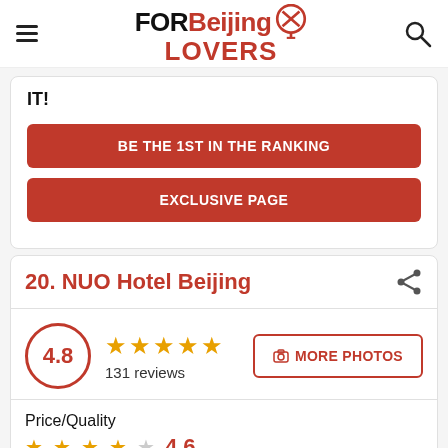FOR Beijing LOVERS
IT!
BE THE 1ST IN THE RANKING
EXCLUSIVE PAGE
20. NUO Hotel Beijing
4.8 — 131 reviews — MORE PHOTOS
Price/Quality — 4.6
Available Services